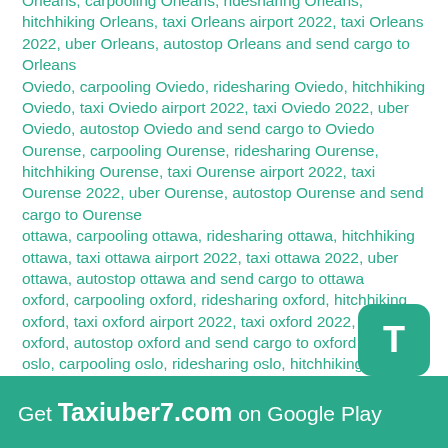Orleans, carpooling Orleans, ridesharing Orleans, hitchhiking Orleans, taxi Orleans airport 2022, taxi Orleans 2022, uber Orleans, autostop Orleans and send cargo to Orleans
Oviedo, carpooling Oviedo, ridesharing Oviedo, hitchhiking Oviedo, taxi Oviedo airport 2022, taxi Oviedo 2022, uber Oviedo, autostop Oviedo and send cargo to Oviedo
Ourense, carpooling Ourense, ridesharing Ourense, hitchhiking Ourense, taxi Ourense airport 2022, taxi Ourense 2022, uber Ourense, autostop Ourense and send cargo to Ourense
ottawa, carpooling ottawa, ridesharing ottawa, hitchhiking ottawa, taxi ottawa airport 2022, taxi ottawa 2022, uber ottawa, autostop ottawa and send cargo to ottawa
oxford, carpooling oxford, ridesharing oxford, hitchhiking oxford, taxi oxford airport 2022, taxi oxford 2022, uber oxford, autostop oxford and send cargo to oxford
oslo, carpooling oslo, ridesharing oslo, hitchhiking oslo, taxi oslo airport 2022, taxi oslo 2022, uber oslo, autostop oslo and send cargo to oslo
orlando, carpooling orlando, ridesharing orlando, hitchhiking orlando, taxi orlando airport 2022, taxi orlando 2022, uber orlando, autostop orlando and send
Get Taxiuber7.com on Google Play